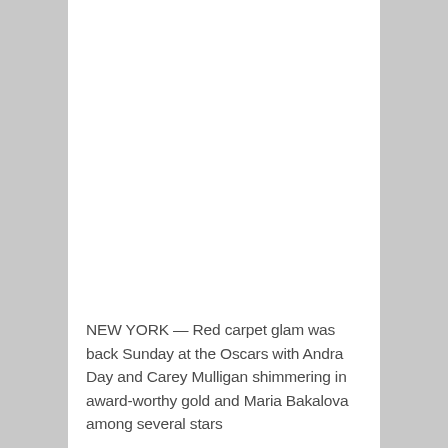[Figure (photo): Large photo area at the top of the page (image content not visible — white/blank area)]
NEW YORK — Red carpet glam was back Sunday at the Oscars with Andra Day and Carey Mulligan shimmering in award-worthy gold and Maria Bakalova among several stars